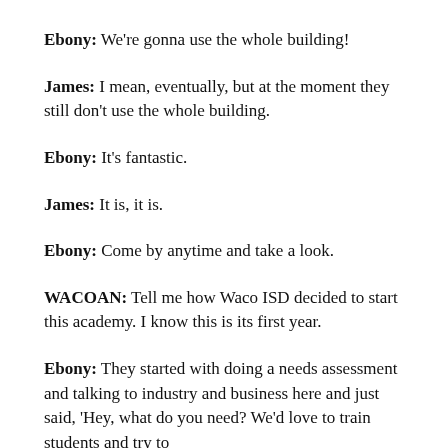Ebony: We're gonna use the whole building!
James: I mean, eventually, but at the moment they still don't use the whole building.
Ebony: It's fantastic.
James: It is, it is.
Ebony: Come by anytime and take a look.
WACOAN: Tell me how Waco ISD decided to start this academy. I know this is its first year.
Ebony: They started with doing a needs assessment and talking to industry and business here and just said, 'Hey, what do you need? We'd love to train students and try to